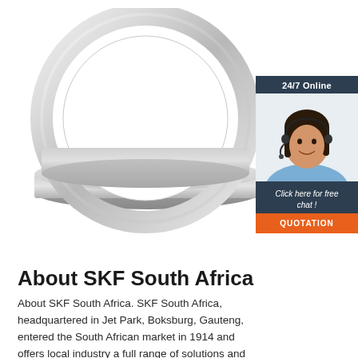[Figure (photo): SKF bearing product photo showing two stainless steel ball bearings stacked, one ring-shaped with visible ball race on top of a flat cylindrical base bearing, on white background]
[Figure (infographic): 24/7 Online customer support chat widget with dark navy header reading '24/7 Online', a smiling female customer service agent wearing a headset, italic text 'Click here for free chat !', and an orange button labelled 'QUOTATION']
About SKF South Africa
About SKF South Africa. SKF South Africa, headquartered in Jet Park, Boksburg, Gauteng, entered the South African market in 1914 and offers local industry a full range of solutions and